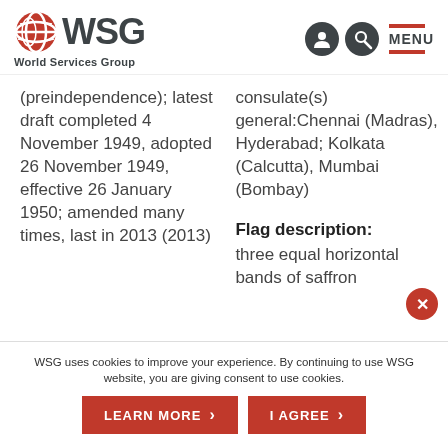WSG World Services Group
(preindependence); latest draft completed 4 November 1949, adopted 26 November 1949, effective 26 January 1950; amended many times, last in 2013 (2013)
consulate(s) general:Chennai (Madras), Hyderabad; Kolkata (Calcutta), Mumbai (Bombay)
Flag description:
three equal horizontal bands of saffron
WSG uses cookies to improve your experience. By continuing to use WSG website, you are giving consent to use cookies.